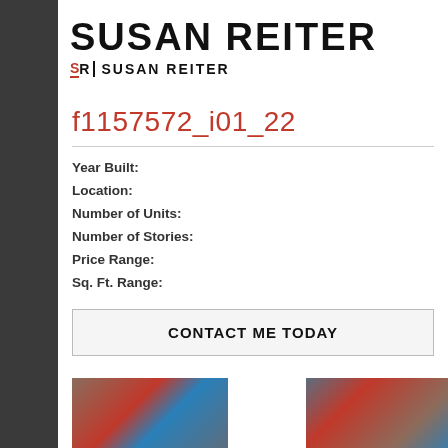SUSAN REITER
SR|SUSAN REITER
f1157572_i01_22
Year Built:
Location:
Number of Units:
Number of Stories:
Price Range:
Sq. Ft. Range:
CONTACT ME TODAY
[Figure (photo): Exterior photo of a brick building - left]
[Figure (photo): Exterior photo of a brick building - right]